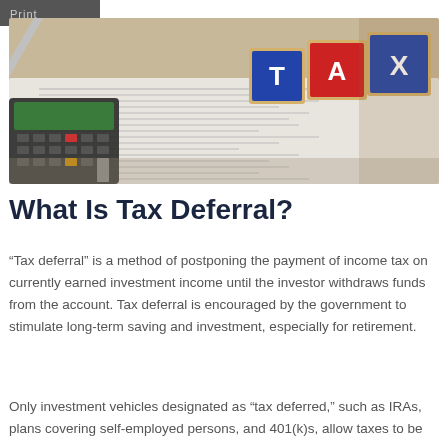Print
[Figure (photo): Photo of wooden alphabet blocks spelling TAX on top of tax forms and documents, with a calculator and pen visible in the background.]
What Is Tax Deferral?
“Tax deferral” is a method of postponing the payment of income tax on currently earned investment income until the investor withdraws funds from the account. Tax deferral is encouraged by the government to stimulate long-term saving and investment, especially for retirement.
Only investment vehicles designated as “tax deferred,” such as IRAs, plans covering self-employed persons, and 401(k)s, allow taxes to be